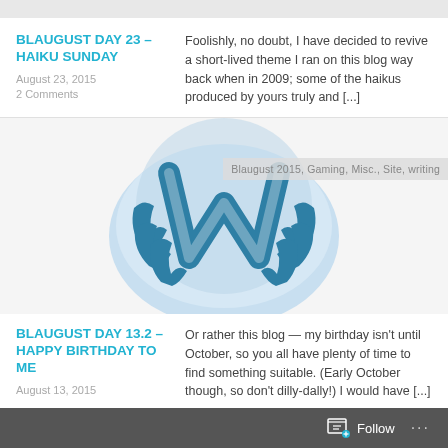BLAUGUST DAY 23 – HAIKU SUNDAY
August 23, 2015
2 Comments
Foolishly, no doubt, I have decided to revive a short-lived theme I ran on this blog way back when in 2009; some of the haikus produced by yours truly and [...]
[Figure (logo): WordPress achievement/anniversary logo — blue W with laurel wreath on light blue circular background]
Blaugust 2015, Gaming, Misc., Site, writing
BLAUGUST DAY 13.2 – HAPPY BIRTHDAY TO ME
August 13, 2015
Or rather this blog — my birthday isn't until October, so you all have plenty of time to find something suitable. (Early October though, so don't dilly-dally!) I would have [...]